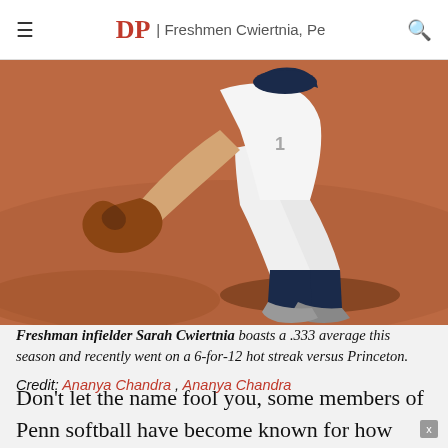DP | Freshmen Cwiertnia, Pe
[Figure (photo): A softball infielder in white uniform and navy socks crouching low on a red dirt field, reaching out with a brown leather glove to field a ball.]
Freshman infielder Sarah Cwiertnia boasts a .333 average this season and recently went on a 6-for-12 hot streak versus Princeton.
Credit: Ananya Chandra , Ananya Chandra
Don't let the name fool you, some members of Penn softball have become known for how hard